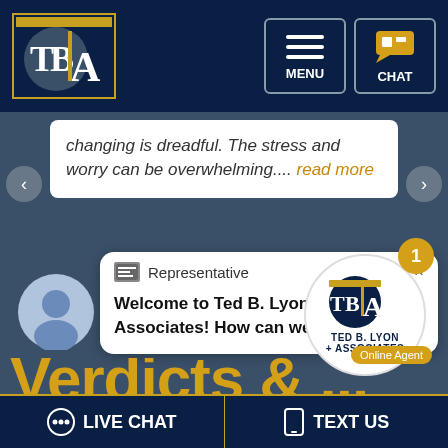[Figure (screenshot): Navigation bar with TBLA logo on the left and MENU and CHAT buttons on the right]
changing is dreadful. The stress and worry can be overwhelming.... read more
[Figure (screenshot): Live chat popup widget with Representative header, X close button, and message: Welcome to Ted B. Lyon & Associates! How can we help you?]
[Figure (logo): Ted B. Lyon & Associates circular logo badge with notification badge showing 1 and Online Agent label]
Verdicts a...
LIVE CHAT
TEXT US